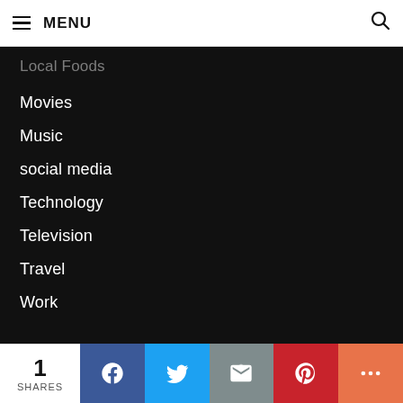MENU
Local Foods
Movies
Music
social media
Technology
Television
Travel
Work
1 SHARES | Facebook | Twitter | Email | Pinterest | More